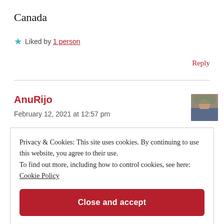Canada
Liked by 1 person
Reply
AnuRijo
February 12, 2021 at 12:57 pm
Privacy & Cookies: This site uses cookies. By continuing to use this website, you agree to their use.
To find out more, including how to control cookies, see here: Cookie Policy
Close and accept